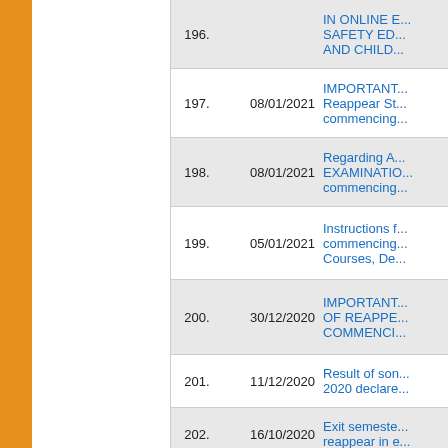| No. | Date | Title |
| --- | --- | --- |
| 196. |  | IN ONLINE E... SAFETY ED... AND CHILD... |
| 197. | 08/01/2021 | IMPORTANT... Reappear St... commencing... |
| 198. | 08/01/2021 | Regarding A... EXAMINATIO... commencing... |
| 199. | 05/01/2021 | Instructions f... commencing... Courses, De... |
| 200. | 30/12/2020 | IMPORTANT... OF REAPPE... COMMENCI... |
| 201. | 11/12/2020 | Result of son... 2020 declare... |
| 202. | 16/10/2020 | Exit semeste... reappear in e... |
| 203. | 14/10/2020 | Press Relea... |
| 204. | 12/10/2020 | Press Relea... |
| 205. | 08/10/2020 | Press Relea... |